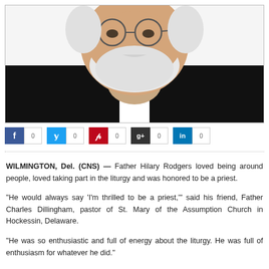[Figure (photo): Close-up portrait of an elderly smiling priest with white beard and round glasses, wearing a black clerical collar and jacket]
WILMINGTON, Del. (CNS) — Father Hilary Rodgers loved being around people, loved taking part in the liturgy and was honored to be a priest.
"He would always say 'I'm thrilled to be a priest,'" said his friend, Father Charles Dillingham, pastor of St. Mary of the Assumption Church in Hockessin, Delaware.
"He was so enthusiastic and full of energy about the liturgy. He was full of enthusiasm for whatever he did."